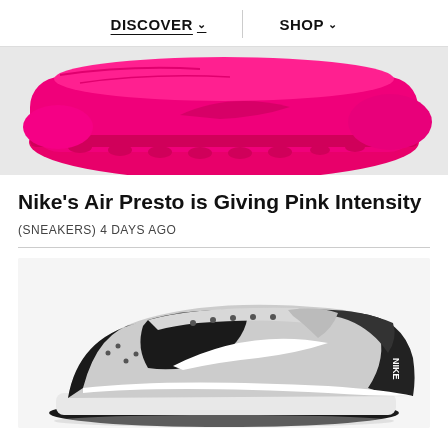DISCOVER   SHOP
[Figure (photo): Close-up of a hot pink Nike Air Presto sole from below, showing the Nike swoosh logo and textured rubber outsole against a light grey background.]
Nike's Air Presto is Giving Pink Intensity
(SNEAKERS) 4 DAYS AGO
[Figure (photo): Nike Dunk Low sneaker in black and white (Panda colorway) shown from the side angle on a white background, featuring black leather upper panels, white swoosh, white midsole, and black outsole.]